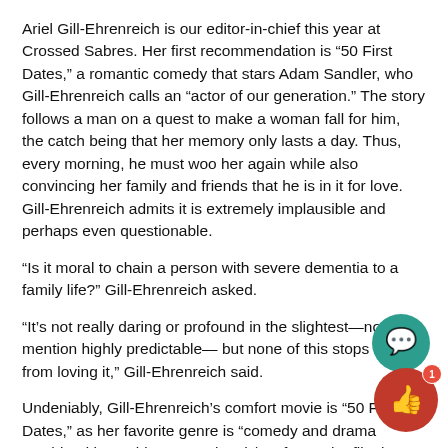Ariel Gill-Ehrenreich is our editor-in-chief this year at Crossed Sabres. Her first recommendation is “50 First Dates,” a romantic comedy that stars Adam Sandler, who Gill-Ehrenreich calls an “actor of our generation.” The story follows a man on a quest to make a woman fall for him, the catch being that her memory only lasts a day. Thus, every morning, he must woo her again while also convincing her family and friends that he is in it for love. Gill-Ehrenreich admits it is extremely implausible and perhaps even questionable.
“Is it moral to chain a person with severe dementia to a family life?” Gill-Ehrenreich asked.
“It’s not really daring or profound in the slightest—not to mention highly predictable— but none of this stops me from loving it,” Gill-Ehrenreich said.
Undeniably, Gill-Ehrenreich’s comfort movie is “50 First Dates,” as her favorite genre is “comedy and drama combined into a bittersweet laugh/cry-fest.” The film is not a psychiatric docudrama,
[Figure (illustration): Teal circular button with a speech bubble / comment icon]
[Figure (illustration): Red circular button with a thumbs-up icon and a red badge showing the number 1]